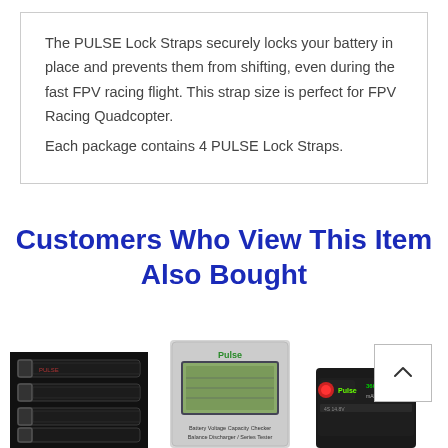The PULSE Lock Straps securely locks your battery in place and prevents them from shifting, even during the fast FPV racing flight. This strap size is perfect for FPV Racing Quadcopter.
Each package contains 4 PULSE Lock Straps.
Customers Who View This Item Also Bought
[Figure (photo): Black PULSE Lock Straps product image showing four black velcro straps stacked]
[Figure (photo): PULSE battery voltage capacity checker / tester device with green LCD screen]
[Figure (photo): PULSE branded LiPo battery pack in black with green label showing 3600 capacity]